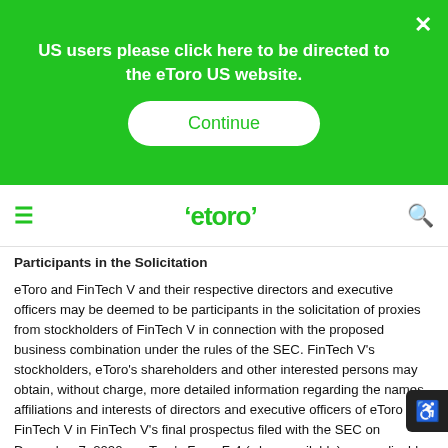[Figure (screenshot): Green banner overlay with text 'US users please click here to be directed to the eToro US website.' and a white 'Continue' button, with an X close button in top right.]
eToro navigation bar with hamburger menu, eToro logo, and search icon
Participants in the Solicitation
eToro and FinTech V and their respective directors and executive officers may be deemed to be participants in the solicitation of proxies from stockholders of FinTech V in connection with the proposed business combination under the rules of the SEC. FinTech V's stockholders, eToro's shareholders and other interested persons may obtain, without charge, more detailed information regarding the names, affiliations and interests of directors and executive officers of eToro and FinTech V in FinTech V's final prospectus filed with the SEC on December 7, 2020 or eToro's Form F-4 (when available), as applicable, as well as their other filings with the SEC. Other information regarding persons who may, under the rules of the SEC, be deemed the participants in the proxy solicitation of FinTech V's stockholders in connection with the proposed business combination and a description of their direct and indirect interests, by security holdings or otherwise, will be included in the preliminary proxy statement / prospectus and will be contained in other relevant materials to be filed with the SEC regarding the proposed